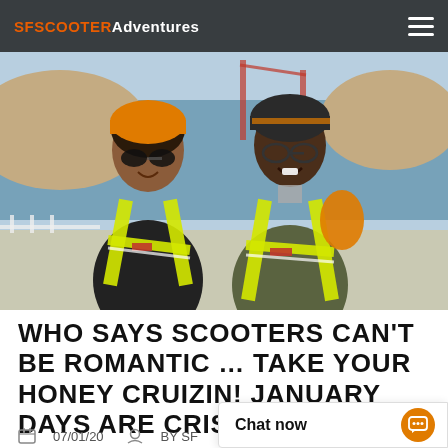SFSCOOTERAdventures
[Figure (photo): Two people wearing orange helmets and yellow reflective safety vests smiling, with the Golden Gate Bridge and water visible in the background.]
WHO SAYS SCOOTERS CAN'T BE ROMANTIC … TAKE YOUR HONEY CRUIZIN!  JANUARY DAYS ARE CRISP AND C
07/01/20   BY SF
Chat now
NO COMMENT